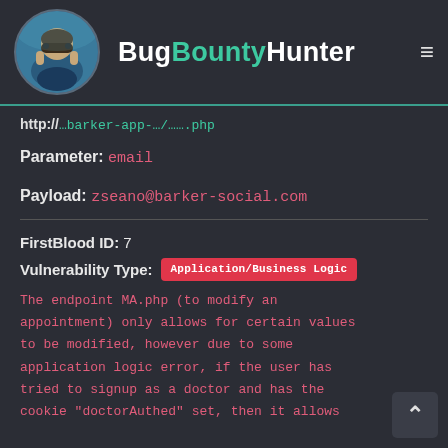BugBountyHunter
http: ...barker-app-... .php
Parameter: email
Payload: zseano@barker-social.com
FirstBlood ID: 7
Vulnerability Type: Application/Business Logic
The endpoint MA.php (to modify an appointment) only allows for certain values to be modified, however due to some application logic error, if the user has tried to signup as a doctor and has the cookie "doctorAuthed" set, then it allows